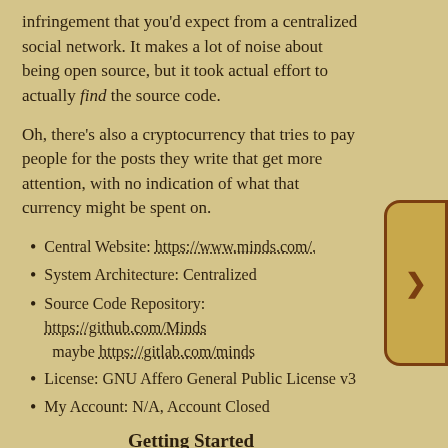infringement that you'd expect from a centralized social network. It makes a lot of noise about being open source, but it took actual effort to actually find the source code.
Oh, there's also a cryptocurrency that tries to pay people for the posts they write that get more attention, with no indication of what that currency might be spent on.
Central Website: https://www.minds.com/.
System Architecture: Centralized
Source Code Repository: https://github.com/Minds maybe https://gitlab.com/minds
License: GNU Affero General Public License v3
My Account: N/A, Account Closed
Getting Started
Go to the site. Sign up. Ta-da!
You'll get an e-mail explaining the (barest) basics and